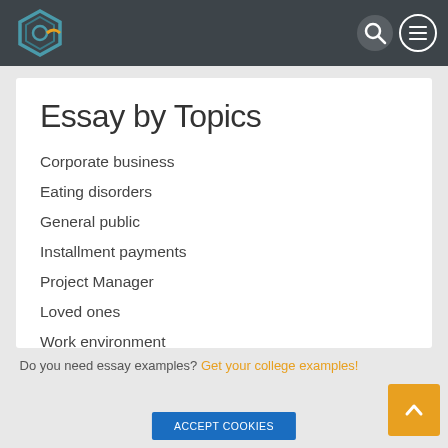Essay by Topics - site header navigation
Essay by Topics
Corporate business
Eating disorders
General public
Installment payments
Project Manager
Loved ones
Work environment
Anodized cookware
Do you need essay examples? Get your college examples!
Accept Cookies